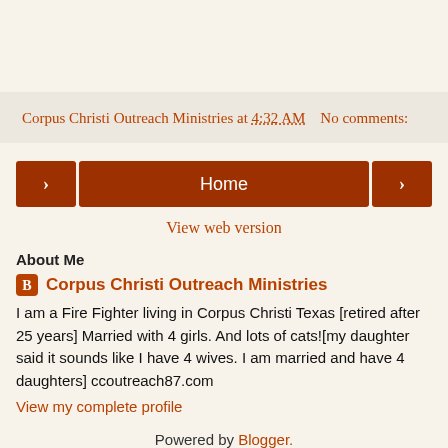Corpus Christi Outreach Ministries at 4:32 AM    No comments:
[Figure (infographic): Navigation row with back arrow button, Home button, and forward arrow button]
View web version
About Me
Corpus Christi Outreach Ministries
I am a Fire Fighter living in Corpus Christi Texas [retired after 25 years] Married with 4 girls. And lots of cats![my daughter said it sounds like I have 4 wives. I am married and have 4 daughters] ccoutreach87.com
View my complete profile
Powered by Blogger.